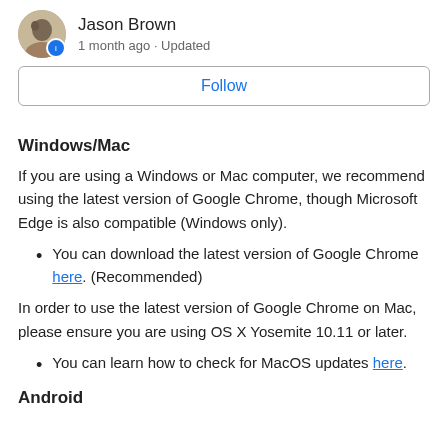Jason Brown · 1 month ago · Updated
Follow
Windows/Mac
If you are using a Windows or Mac computer, we recommend using the latest version of Google Chrome, though Microsoft Edge is also compatible (Windows only).
You can download the latest version of Google Chrome here. (Recommended)
In order to use the latest version of Google Chrome on Mac, please ensure you are using OS X Yosemite 10.11 or later.
You can learn how to check for MacOS updates here.
Android